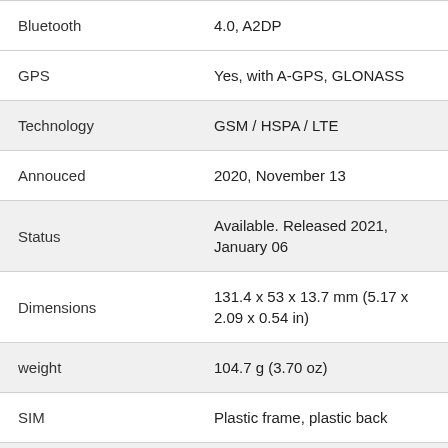| Feature | Value |
| --- | --- |
| Bluetooth | 4.0, A2DP |
| GPS | Yes, with A-GPS, GLONASS |
| Technology | GSM / HSPA / LTE |
| Annouced | 2020, November 13 |
| Status | Available. Released 2021, January 06 |
| Dimensions | 131.4 x 53 x 13.7 mm (5.17 x 2.09 x 0.54 in) |
| weight | 104.7 g (3.70 oz) |
| SIM | Plastic frame, plastic back |